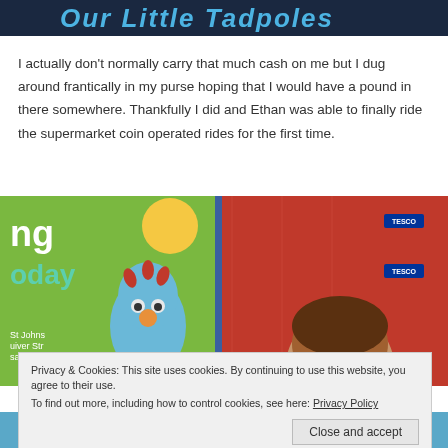[Figure (photo): Top cropped banner image showing a colorful title graphic with blue and teal text on a dark background]
I actually don’t normally carry that much cash on me but I dug around frantically in my purse hoping that I would have a pound in there somewhere. Thankfully I did and Ethan was able to finally ride the supermarket coin operated rides for the first time.
[Figure (photo): Photo of a child with a blue dinosaur toy ride in a Tesco supermarket, with red background signage]
Privacy & Cookies: This site uses cookies. By continuing to use this website, you agree to their use.
To find out more, including how to control cookies, see here: Privacy Policy
[Figure (photo): Bottom cropped image showing a blue background, partial view]